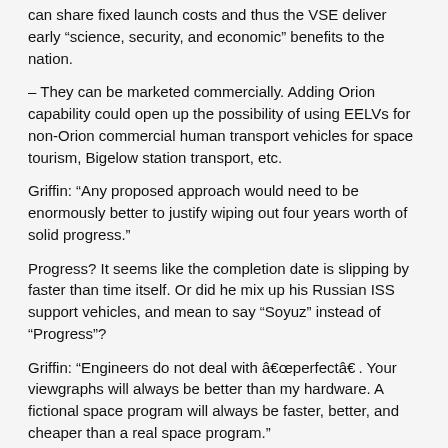can share fixed launch costs and thus the VSE deliver early “science, security, and economic” benefits to the nation.
– They can be marketed commercially. Adding Orion capability could open up the possibility of using EELVs for non-Orion commercial human transport vehicles for space tourism, Bigelow station transport, etc.
Griffin: “Any proposed approach would need to be enormously better to justify wiping out four years worth of solid progress.”
Progress? It seems like the completion date is slipping by faster than time itself. Or did he mix up his Russian ISS support vehicles, and mean to say “Soyuz” instead of “Progress”?
Griffin: “Engineers do not deal with â€œperfectâ€�. Your viewgraphs will always be better than my hardware. A fictional space program will always be faster, better, and cheaper than a real space program.”
So, let me get this straight. Is Dr. Griffin saying Ares 1 is real, and the EELVs aren’t?
sc220